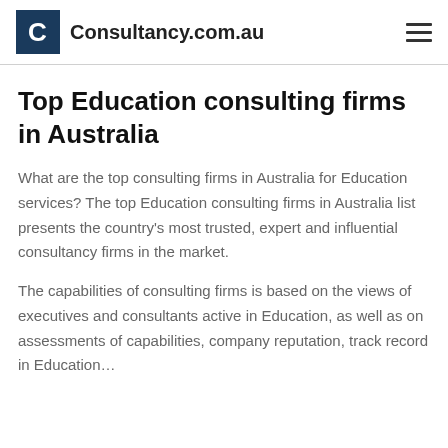Consultancy.com.au
Top Education consulting firms in Australia
What are the top consulting firms in Australia for Education services? The top Education consulting firms in Australia list presents the country's most trusted, expert and influential consultancy firms in the market.
The capabilities of consulting firms is based on the views of executives and consultants active in Education, as well as on assessments of capabilities, company reputation, track record in Education…